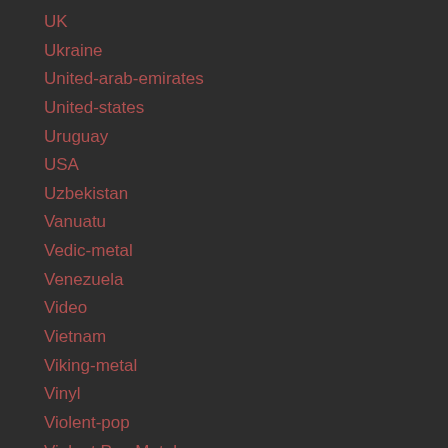UK
Ukraine
United-arab-emirates
United-states
Uruguay
USA
Uzbekistan
Vanuatu
Vedic-metal
Venezuela
Video
Vietnam
Viking-metal
Vinyl
Violent-pop
Violent Pop Metal
Violin
Visual-kei
Wacken-open-air
Wales
Winter...